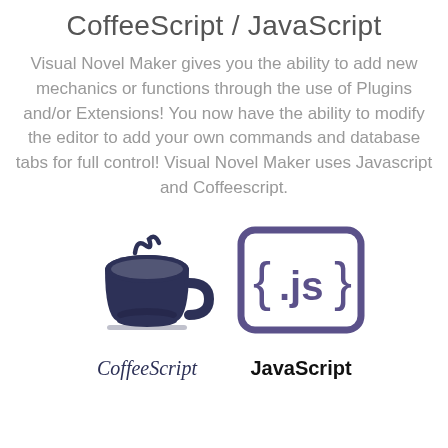CoffeeScript / JavaScript
Visual Novel Maker gives you the ability to add new mechanics or functions through the use of Plugins and/or Extensions! You now have the ability to modify the editor to add your own commands and database tabs for full control! Visual Novel Maker uses Javascript and Coffeescript.
[Figure (logo): CoffeeScript logo: dark navy/indigo coffee cup icon with the text 'CoffeeScript' in italic serif below]
[Figure (logo): JavaScript logo: dark indigo curly-brace {.js} icon with the text 'JavaScript' in bold sans-serif below]